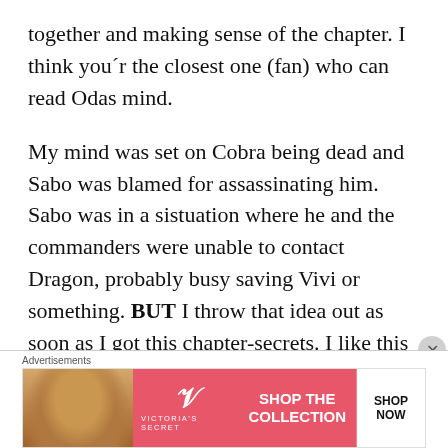together and making sense of the chapter. I think you´r the closest one (fan) who can read Odas mind.
My mind was set on Cobra being dead and Sabo was blamed for assassinating him. Sabo was in a sistuation where he and the commanders were unable to contact Dragon, probably busy saving Vivi or something. BUT I throw that idea out as soon as I got this chapter-secrets. I like this
[Figure (infographic): Victoria's Secret advertisement banner showing a woman model on the left, VS logo and brand name in the center on pink background, 'SHOP THE COLLECTION' text, and a 'SHOP NOW' button on the right.]